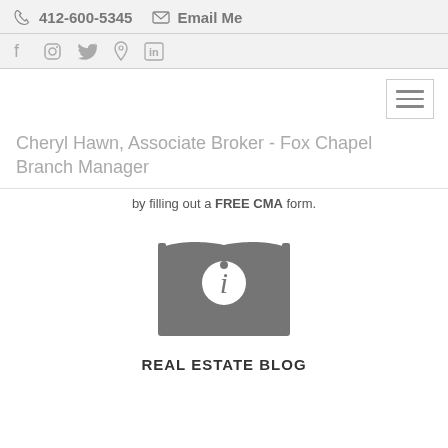412-600-5345   Email Me
Social icons: f, instagram, twitter, location, linkedin
[Figure (other): Hamburger menu button with three horizontal lines]
Cheryl Hawn, Associate Broker - Fox Chapel Branch Manager
by filling out a FREE CMA form.
[Figure (illustration): Open book icon with letter i on it, representing an information/blog icon in dark gray]
REAL ESTATE BLOG